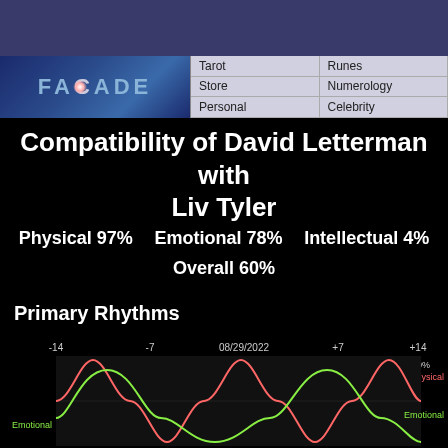[Figure (logo): FACADE website logo with blue gradient and pink glow dot]
| Col1 | Col2 |
| --- | --- |
| Tarot | Runes |
| Store | Numerology |
| Personal | Celebrity |
Compatibility of David Letterman with Liv Tyler
Physical 97%   Emotional 78%   Intellectual 4%
Overall 60%
Primary Rhythms
[Figure (continuous-plot): Biorhythm chart showing Physical (red/pink) and Emotional (green/yellow) sine wave cycles plotted over time. X-axis shows dates: -14, -7, 08/29/2022, +7, +14. Y-axis shows +100% at top. Legend labels: Physical (red), Emotional (green). Two sine waves visible cycling through positive peaks.]